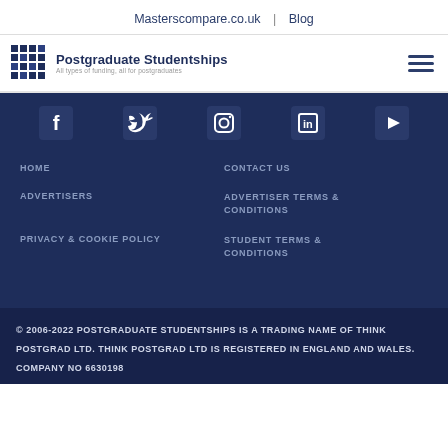Masterscompare.co.uk | Blog
[Figure (logo): Postgraduate Studentships logo with grid icon and tagline 'All types of funding, all for postgraduates']
[Figure (infographic): Social media icons: Facebook, Twitter, Instagram, LinkedIn, YouTube]
HOME
CONTACT US
ADVERTISERS
ADVERTISER TERMS & CONDITIONS
PRIVACY & COOKIE POLICY
STUDENT TERMS & CONDITIONS
© 2006-2022 POSTGRADUATE STUDENTSHIPS IS A TRADING NAME OF THINK POSTGRAD LTD. THINK POSTGRAD LTD IS REGISTERED IN ENGLAND AND WALES. COMPANY NO 6630198